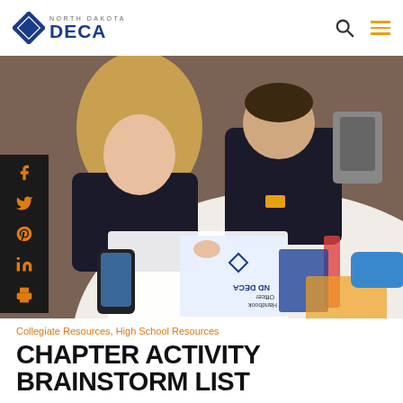NORTH DAKOTA DECA
[Figure (photo): Two students in black DECA t-shirts leaning over a round table covered with papers including an ND DECA Officer Handbook, a smartphone, and other materials, viewed from above.]
Collegiate Resources, High School Resources
CHAPTER ACTIVITY BRAINSTORM LIST